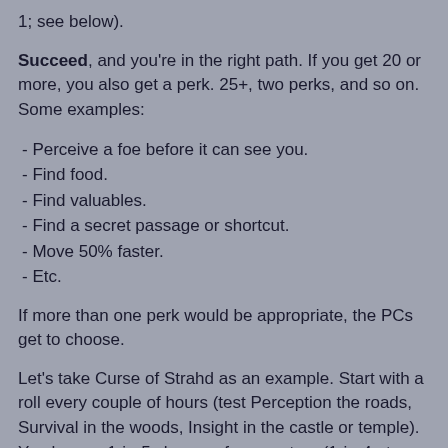1; see below).
Succeed, and you're in the right path. If you get 20 or more, you also get a perk. 25+, two perks, and so on. Some examples:
- Perceive a foe before it can see you.
- Find food.
- Find valuables.
- Find a secret passage or shortcut.
- Move 50% faster.
- Etc.
If more than one perk would be appropriate, the PCs get to choose.
Let's take Curse of Strahd as an example. Start with a roll every couple of hours (test Perception the roads, Survival in the woods, Insight in the castle or temple). You have a 1-in-5 chance of encounters (1-in-4 at night or in the woods, 1-in-3 if both). Fail in the woods, you get lost or surprised. Fail in the roads an you get ambushed (if there is an encounter).